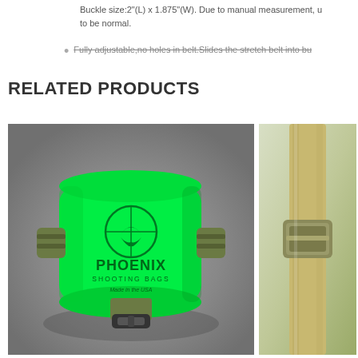Buckle size:2”(L) x 1.875”(W). Due to manual measurement, u to be normal.
Fully adjustable,no holes in belt.Slides the stretch belt into bu
RELATED PRODUCTS
[Figure (photo): A bright green Phoenix Shooting Bags product with logo and text 'Made in the USA', photographed on a grey background with olive/tan straps and buckle]
[Figure (photo): Partial view of a tan/olive colored bag or strap product on a light background]